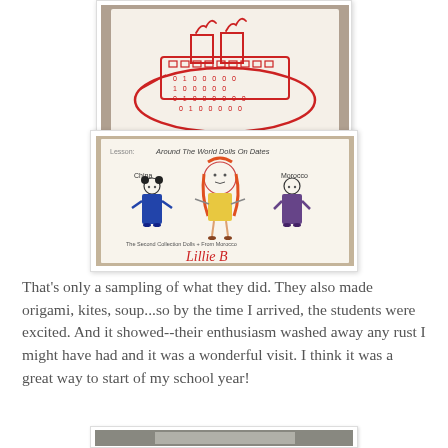[Figure (photo): Child's drawing of a ship/boat with numbers written on it, done in red crayon on white paper, photographed from above]
[Figure (photo): Child's drawing titled 'Around The World Dolls On Dates' showing three hand-drawn figures representing children from China, Morocco, and another country, with the name 'Lillie B' written in red at the bottom, signed by the student]
That's only a sampling of what they did. They also made origami, kites, soup...so by the time I arrived, the students were excited. And it showed--their enthusiasm washed away any rust I might have had and it was a wonderful visit. I think it was a great way to start of my school year!
[Figure (photo): Partially visible photograph at the bottom of the page, cut off]